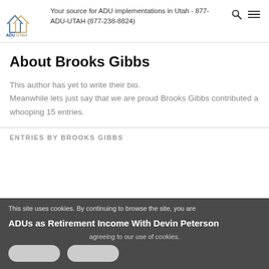Your source for ADU implementations in Utah - 877-ADU-UTAH (877-238-8824)
About Brooks Gibbs
This author has yet to write their bio. Meanwhile lets just say that we are proud Brooks Gibbs contributed a whooping 15 entries.
ENTRIES BY BROOKS GIBBS
This site uses cookies. By continuing to browse the site, you are agreeing to our use of cookies.
ADUs as Retirement Income With Devin Peterson